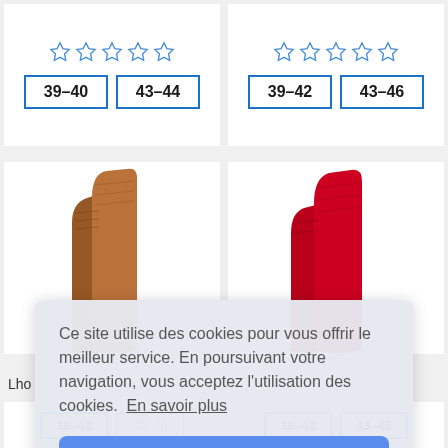[Figure (screenshot): Two product cards at top showing star ratings and size selection buttons (39-40, 43-44 on left; 39-42, 43-46 on right)]
[Figure (photo): Two product cards showing brown socks (left) and red socks (right)]
Ce site utilise des cookies pour vous offrir le meilleur service. En poursuivant votre navigation, vous acceptez l'utilisation des cookies. En savoir plus
J'accepte
[Figure (screenshot): Partial bottom size buttons: 39-42 and 43-46 on each card]